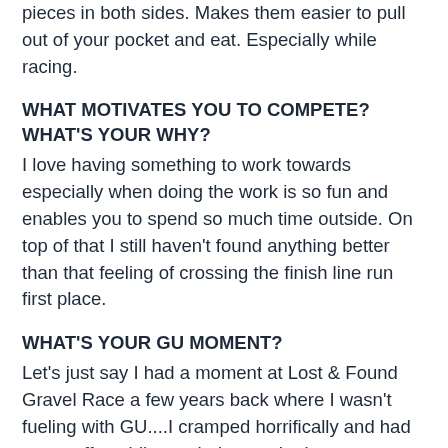pieces in both sides. Makes them easier to pull out of your pocket and eat. Especially while racing.
WHAT MOTIVATES YOU TO COMPETE? WHAT'S YOUR WHY?
I love having something to work towards especially when doing the work is so fun and enables you to spend so much time outside. On top of that I still haven't found anything better than that feeling of crossing the finish line run first place.
WHAT'S YOUR GU MOMENT?
Let's just say I had a moment at Lost & Found Gravel Race a few years back where I wasn't fueling with GU....I cramped horrifically and had to get off my bike to shake out the legs. Obviously I didn't win the race that day. Ever since